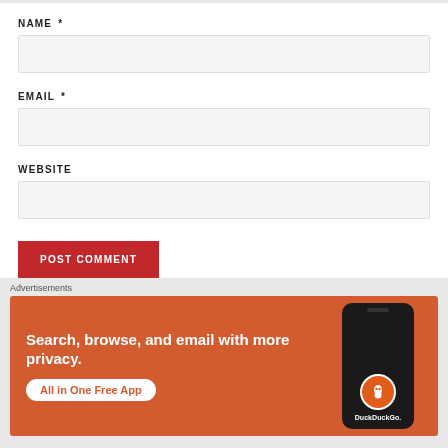NAME *
[Figure (other): Text input field for NAME]
EMAIL *
[Figure (other): Text input field for EMAIL]
WEBSITE
[Figure (other): Text input field for WEBSITE]
[Figure (other): POST COMMENT button (red)]
[Figure (other): Close (X) button circle]
Advertisements
[Figure (other): DuckDuckGo advertisement banner: Search, browse, and email with more privacy. All in One Free App. Shows phone with DuckDuckGo logo.]